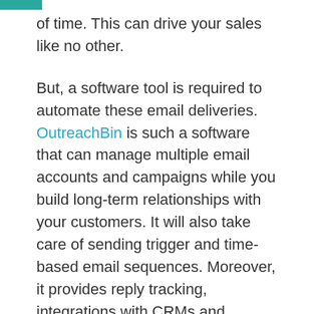of time. This can drive your sales like no other.
But, a software tool is required to automate these email deliveries. OutreachBin is such a software that can manage multiple email accounts and campaigns while you build long-term relationships with your customers. It will also take care of sending trigger and time-based email sequences. Moreover, it provides reply tracking, integrations with CRMs and prospect profiles. Not only that, but it also warms up emails for better